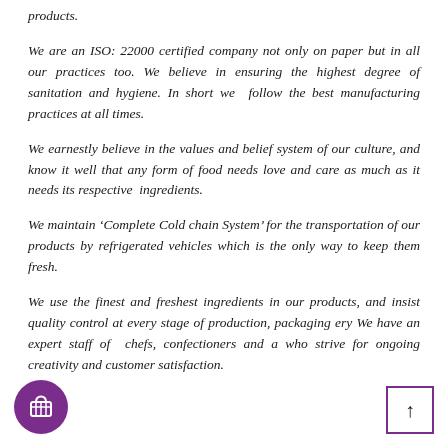products.
We are an ISO: 22000 certified company not only on paper but in all our practices too. We believe in ensuring the highest degree of sanitation and hygiene. In short we follow the best manufacturing practices at all times.
We earnestly believe in the values and belief system of our culture, and know it well that any form of food needs love and care as much as it needs its respective ingredients.
We maintain ‘Complete Cold chain System’ for the transportation of our products by refrigerated vehicles which is the only way to keep them fresh.
We use the finest and freshest ingredients in our products, and insist quality control at every stage of production, packaging ery We have an expert staff of chefs, confectioners and a who strive for ongoing creativity and customer satisfaction.